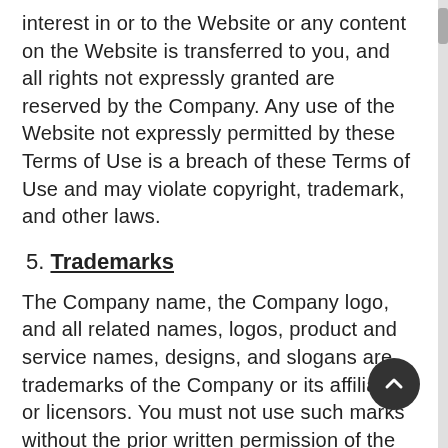interest in or to the Website or any content on the Website is transferred to you, and all rights not expressly granted are reserved by the Company. Any use of the Website not expressly permitted by these Terms of Use is a breach of these Terms of Use and may violate copyright, trademark, and other laws.
5. Trademarks
The Company name, the Company logo, and all related names, logos, product and service names, designs, and slogans are trademarks of the Company or its affiliates or licensors. You must not use such marks without the prior written permission of the Company. All other names, logos, product and service names, designs, and slogans on this Website are the